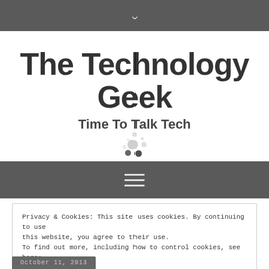v
The Technology Geek
Time To Talk Tech
[Figure (other): Decorative dots/loading spinner icon in light gray]
[Figure (other): Navigation hamburger menu icon (three horizontal lines) on dark gray bar]
Privacy & Cookies: This site uses cookies. By continuing to use this website, you agree to their use.
To find out more, including how to control cookies, see here:
Cookie Policy
Close and accept
October 11, 2013